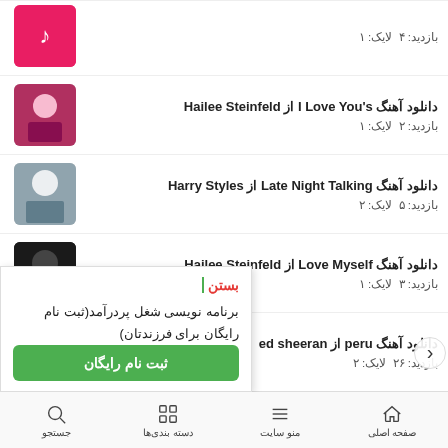بازدید: ۴  لایک: ۱
دانلود آهنگ I Love You's از Hailee Steinfeld
بازدید: ۲  لایک: ۱
دانلود آهنگ Late Night Talking از Harry Styles
بازدید: ۵  لایک: ۲
دانلود آهنگ Love Myself از Hailee Steinfeld
بازدید: ۳  لایک: ۱
دانلود آهنگ peru از ed sheeran
بازدید: ۲۶  لایک: ۲
دانلود آهنگ one life از ed sheeran
بازدید: ۲۴  لایک: ۱
برنامه نویسی شغل پردرآمد(ثبت نام رایگان برای فرزندتان)
بستن
ثبت نام رایگان
صفحه اصلی  منو سایت  دسته بندی‌ها  جستجو